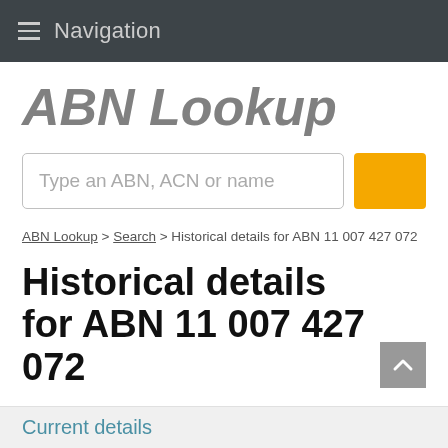Navigation
ABN Lookup
Type an ABN, ACN or name
ABN Lookup > Search > Historical details for ABN 11 007 427 072
Historical details for ABN 11 007 427 072
Current details